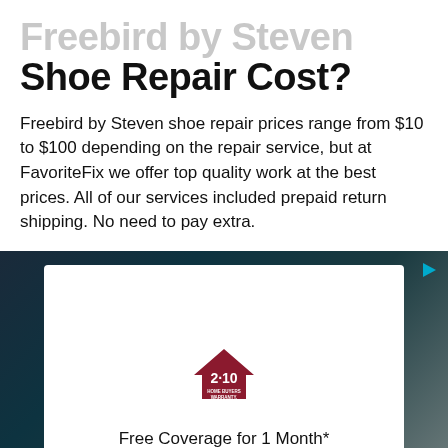Shoe Repair Cost?
Freebird by Steven shoe repair prices range from $10 to $100 depending on the repair service, but at FavoriteFix we offer top quality work at the best prices. All of our services included prepaid return shipping. No need to pay extra.
[Figure (photo): Advertisement card with dark gradient background. White inner card showing 2-10 Home Buyers Warranty logo (house shape with '2·10' text and 'HOME BUYERS WARRANTY.' below). Text at bottom reads 'Free Coverage for 1 Month*'. A teal play/ad indicator arrow icon appears in top-right corner of the ad section.]